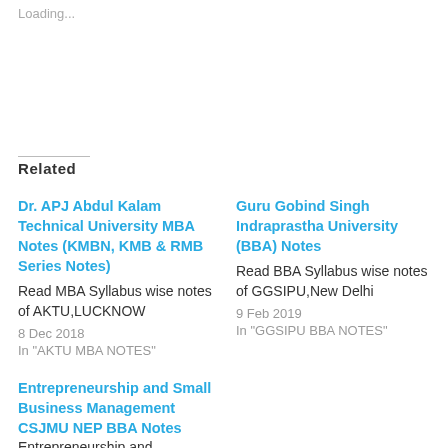Loading...
Related
Dr. APJ Abdul Kalam Technical University MBA Notes (KMBN, KMB & RMB Series Notes)
Read MBA Syllabus wise notes of AKTU,LUCKNOW
8 Dec 2018
In "AKTU MBA NOTES"
Guru Gobind Singh Indraprastha University (BBA) Notes
Read BBA Syllabus wise notes of GGSIPU,New Delhi
9 Feb 2019
In "GGSIPU BBA NOTES"
Entrepreneurship and Small Business Management CSJMU NEP BBA Notes
Entrepreneurship and